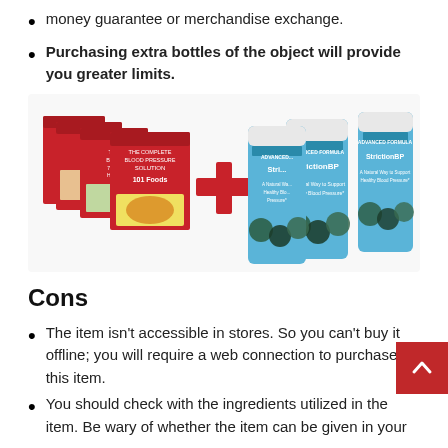money guarantee or merchandise exchange.
Purchasing extra bottles of the object will provide you greater limits.
[Figure (photo): Product image showing a set of blood pressure solution books/guides stacked on the left, a red plus sign in the center, and three StrictionBP supplement bottles on the right.]
Cons
The item isn't accessible in stores. So you can't buy it offline; you will require a web connection to purchase this item.
You should check with the ingredients utilized in the item. Be wary of whether the item can be given in your area.